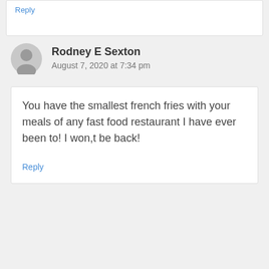Reply
Rodney E Sexton
August 7, 2020 at 7:34 pm
You have the smallest french fries with your meals of any fast food restaurant I have ever been to! I won,t be back!
Reply